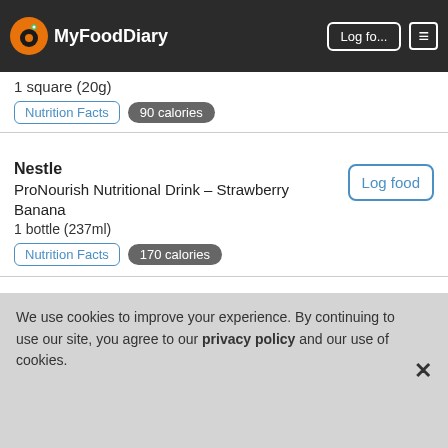MyFoodDiary — Log food
1 square (20g)
Nutrition Facts  90 calories
Nestle
ProNourish Nutritional Drink – Strawberry Banana
1 bottle (237ml)
Nutrition Facts  170 calories
Log food
Nestle
ProNourish Nutritional Drink – French Vanilla
1 bottle (237ml)
Nutrition Facts  170 calories
Log food
Nestle
Log food
We use cookies to improve your experience. By continuing to use our site, you agree to our privacy policy and our use of cookies.